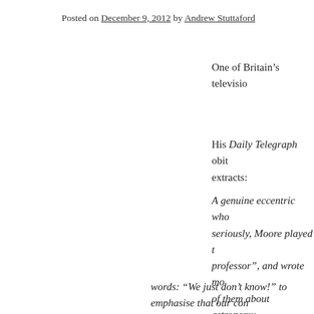Posted on December 9, 2012 by Andrew Stuttaford
One of Britain’s televisio…
His Daily Telegraph obit… extracts:
A genuine eccentric who… seriously, Moore played t… professor”, and wrote mo… of them about astronomy… Meanwhile, his monthly S… launched on BBC Televis… attracted millions of view… On television Moore beco… thunderous fervour with…
words: “We just don’t know!” to emphasise that our con… is incomplete…